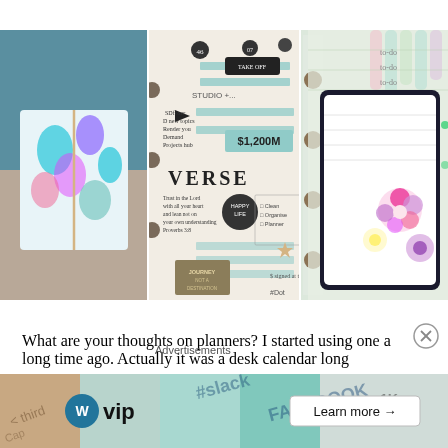[Figure (photo): Three-panel photo collage: left panel shows a colorful tropical-print notebook/planner on a surface near water; center panel shows a bullet journal or planner spread with handwritten text, stickers, green tape strips, and a 'VERSE' label; right panel shows a planner with ring binding, green grid pages, colored markers, and a floral illustration overlay.]
What are your thoughts on planners?  I started using one a long time ago.  Actually it was a desk calendar long
Advertisements
[Figure (photo): Advertisement banner featuring WordPress VIP logo on left, colorful background with social media brand imagery (Slack, Facebook), and a 'Learn more →' button on the right.]